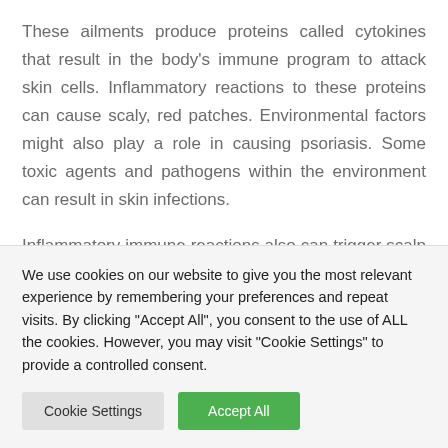These ailments produce proteins called cytokines that result in the body's immune program to attack skin cells. Inflammatory reactions to these proteins can cause scaly, red patches. Environmental factors might also play a role in causing psoriasis. Some toxic agents and pathogens within the environment can result in skin infections.
Inflammatory immune reactions also can trigger scalp psoriasis. Even though psoriasis is usually genetic, it really is not contagious. This condition might start on a single
We use cookies on our website to give you the most relevant experience by remembering your preferences and repeat visits. By clicking "Accept All", you consent to the use of ALL the cookies. However, you may visit "Cookie Settings" to provide a controlled consent.